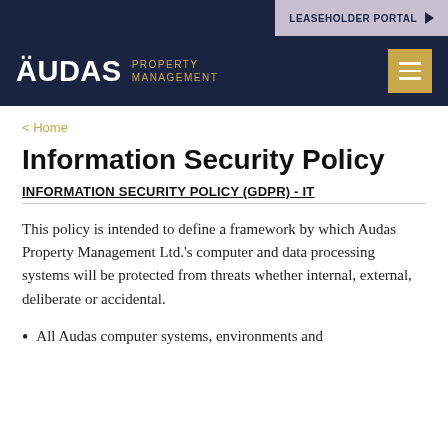LEASEHOLDER PORTAL
[Figure (logo): Audas Property Management logo — white text on dark navy background with gold subtitle and hamburger menu button]
< Home
Information Security Policy
INFORMATION SECURITY POLICY (GDPR) - IT
This policy is intended to define a framework by which Audas Property Management Ltd.'s computer and data processing systems will be protected from threats whether internal, external, deliberate or accidental.
All Audas computer systems, environments and